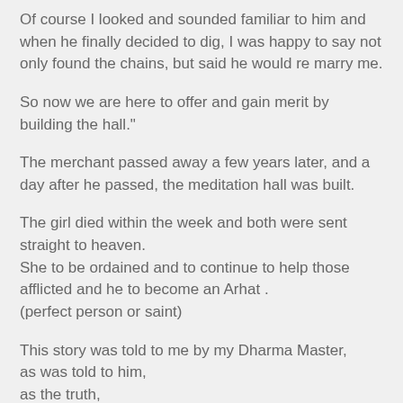Of course I looked and sounded familiar to him and when he finally decided to dig, I was happy to say not only found the chains, but said he would re marry me.
So now we are here to offer and gain merit by building the hall."
The merchant passed away a few years later, and a day after he passed, the meditation hall was built.
The girl died within the week and both were sent straight to heaven.
She to be ordained and to continue to help those afflicted and he to become an Arhat .
(perfect person or saint)
This story was told to me by my Dharma Master,
as was told to him,
as the truth,
by his Master who met the merchant and his two wives at his Temple.